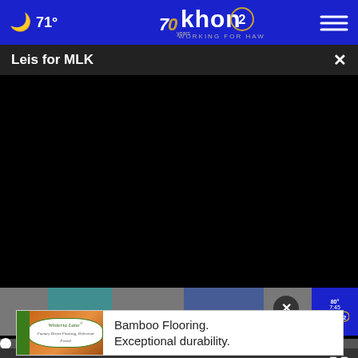71° | khon2 WORKING FOR HAWAII
Leis for MLK
[Figure (screenshot): Black video player area with seek bar at bottom showing 00:00 timestamp, play button, mute button, and fullscreen button]
[Figure (photo): Partial thumbnail strip showing persons outdoors with KHON2 channel overlay showing 80° and 7:45]
[Figure (other): Advertisement banner for Wisteria Lane Bamboo Flooring with logo on left and text: Bamboo Flooring. Exceptional durability.]